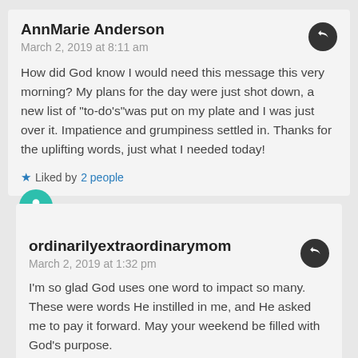AnnMarie Anderson
March 2, 2019 at 8:11 am
How did God know I would need this message this very morning? My plans for the day were just shot down, a new list of "to-do's"was put on my plate and I was just over it. Impatience and grumpiness settled in. Thanks for the uplifting words, just what I needed today!
Liked by 2 people
ordinarilyextraordinarymom
March 2, 2019 at 1:32 pm
I'm so glad God uses one word to impact so many. These were words He instilled in me, and He asked me to pay it forward. May your weekend be filled with God's purpose.